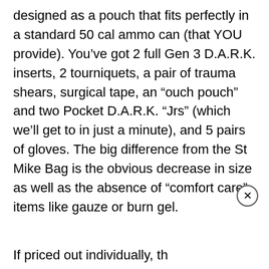designed as a pouch that fits perfectly in a standard 50 cal ammo can (that YOU provide). You've got 2 full Gen 3 D.A.R.K. inserts, 2 tourniquets, a pair of trauma shears, surgical tape, an “ouch pouch” and two Pocket D.A.R.K. “Jrs” (which we’ll get to in just a minute), and 5 pairs of gloves. The big difference from the St Mike Bag is the obvious decrease in size as well as the absence of “comfort care” items like gauze or burn gel.
If priced out individually, th over $400, but Dark Angel MSRP of $384.95 and will or early Q2 of this year.